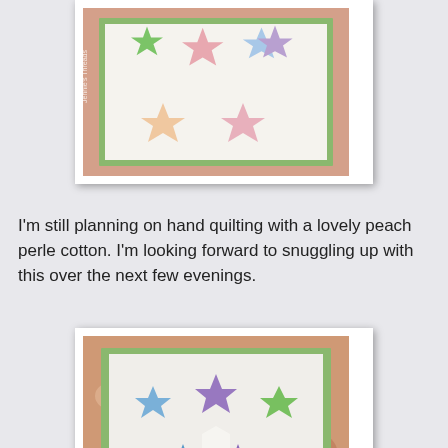[Figure (photo): Top partial photo of a colorful star quilt with floral border fabric, showing the top portion of the quilt laid flat]
I'm still planning on hand quilting with a lovely peach perle cotton. I'm looking forward to snuggling up with this over the next few evenings.
[Figure (photo): Bottom photo of a colorful star quilt with multiple star blocks in various colors (blue, purple, green, pink, peach) arranged on a white background with a floral border]